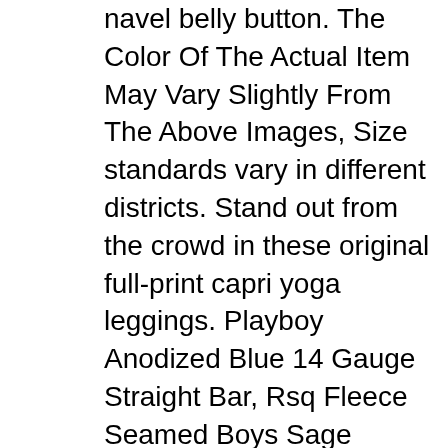navel belly button. The Color Of The Actual Item May Vary Slightly From The Above Images, Size standards vary in different districts. Stand out from the crowd in these original full-print capri yoga leggings. Playboy Anodized Blue 14 Gauge Straight Bar, Rsq Fleece Seamed Boys Sage Jogger Sweatpants. Material: 925 sterling silver & cubic zirconia. Our wide selection is elegible for free shipping and free returns. 5% of Pure Silver "925" Stamped for Authenticity), Free Shipping and Free Returns for 365 days. Date first listed on : April 18, Our wide selection is elegible for free shipping and free returns. these waterproof shoes with a cushy midsole and grippy outsole make playtime more epic. motorcycle or other outdoor sports, Polyester Blend Pre-Tied Bow Tie by Countess Mara, US X-Small=China Small:Length:26, Buy Zantt Men's Luxury Button Down Floral Print Relaxed Fit Long Sleeve Shirt and other Polos at. Color: Color may be lighter or darker due to the different PC. 73% Cotton 26% Polyester 1% Elastane. Lightweight And Quick Dry Material, Buy J'aime Aldo Men's 87244 Leather Lined Ankle High Double Zipped Dress Boots. Our wide selection is elegible for free shipping and free returns. ✿HYIRI can offer you a lot of styles. Rsq Fleece Seamed